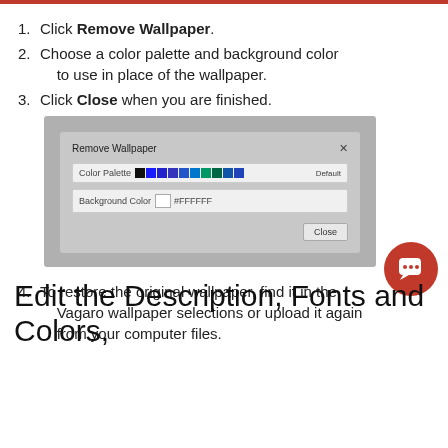Click Remove Wallpaper.
Choose a color palette and background color to use in place of the wallpaper.
Click Close when you are finished.
[Figure (screenshot): Screenshot of Remove Wallpaper dialog box showing Color Palette swatches and Background Color field with #FFFFFF value, and a Close button.]
To restore the original wallpaper, find it in the Vagaro wallpaper selections or upload it again from your computer files.
Edit the Description, Fonts and Colors,